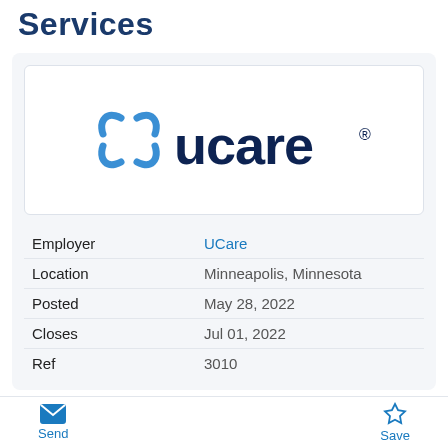Services
[Figure (logo): UCare logo: blue snowflake-like symbol on the left, dark navy 'ucare' wordmark with registered trademark symbol on the right]
| Field | Value |
| --- | --- |
| Employer | UCare |
| Location | Minneapolis, Minnesota |
| Posted | May 28, 2022 |
| Closes | Jul 01, 2022 |
| Ref | 3010 |
Send  Save